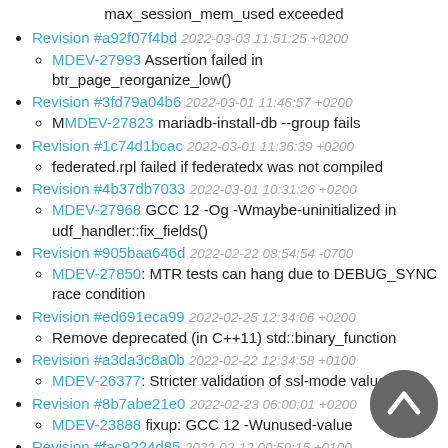max_session_mem_used exceeded
Revision #a92f07f4bd 2022-03-03 11:51:25 +0200
MDEV-27993 Assertion failed in btr_page_reorganize_low()
Revision #3fd79a04b6 2022-03-01 11:46:57 +0200
MMDEV-27823 mariadb-install-db --group fails
Revision #1c74d1bcac 2022-03-01 11:36:39 +0200
federated.rpl failed if federatedx was not compiled
Revision #4b37db7033 2022-03-01 10:31:26 +0200
MDEV-27968 GCC 12 -Og -Wmaybe-uninitialized in udf_handler::fix_fields()
Revision #905baa646d 2022-02-22 08:54:54 -0700
MDEV-27850: MTR tests can hang due to DEBUG_SYNC race condition
Revision #ed691eca99 2022-02-25 12:34:06 +0200
Remove deprecated (in C++11) std::binary_function
Revision #a3da3c8a0b 2022-02-22 12:34:58 +0100
MDEV-26377: Stricter validation of ssl-mode values
Revision #8b7abe21e0 2022-02-23 06:00:01 +0200
MDEV-23888 fixup: GCC 12 -Wunused-value
Revision #fac9224d85 2022-02-12 00:59:15 +0100
MDEV-27777: Some Galera tests fail on FreeBSD